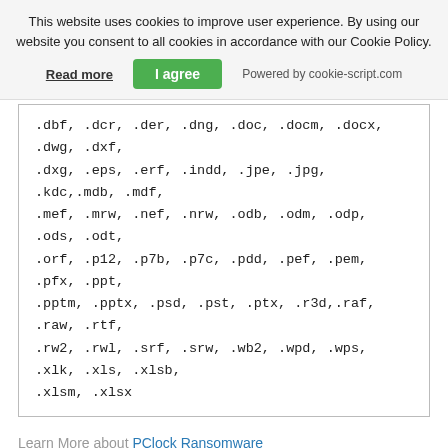This website uses cookies to improve user experience. By using our website you consent to all cookies in accordance with our Cookie Policy.
Read more | I agree | Powered by cookie-script.com
.dbf, .dcr, .der, .dng, .doc, .docm, .docx, .dwg, .dxf, .dxg, .eps, .erf, .indd, .jpe, .jpg, .kdc,.mdb, .mdf, .mef, .mrw, .nef, .nrw, .odb, .odm, .odp, .ods, .odt, .orf, .p12, .p7b, .p7c, .pdd, .pef, .pem, .pfx, .ppt, .pptm, .pptx, .psd, .pst, .ptx, .r3d,.raf, .raw, .rtf, .rw2, .rwl, .srf, .srw, .wb2, .wpd, .wps, .xlk, .xls, .xlsb, .xlsm, .xlsx
Learn More about PClock Ransomware
CryptoLocker Copycat Number Two: CryptoDefense Ransomware
Similar to CryptoLocker, CryptoDefense was distributed primarily via spam email campaigns. It